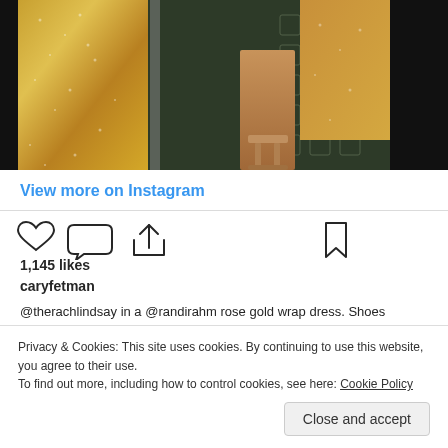[Figure (photo): Instagram photo showing lower half of person in gold/rose gold sequined wrap dress with tan strappy heeled sandals, standing on dark patterned carpet. Black areas on left and right sides of frame.]
View more on Instagram
[Figure (infographic): Instagram action icons: heart (like), comment bubble, share/upload arrow, and bookmark icon on the right]
1,145 likes
caryfetman
@therachlindsay in a @randirahm rose gold wrap dress. Shoes
Privacy & Cookies: This site uses cookies. By continuing to use this website, you agree to their use.
To find out more, including how to control cookies, see here: Cookie Policy
Close and accept